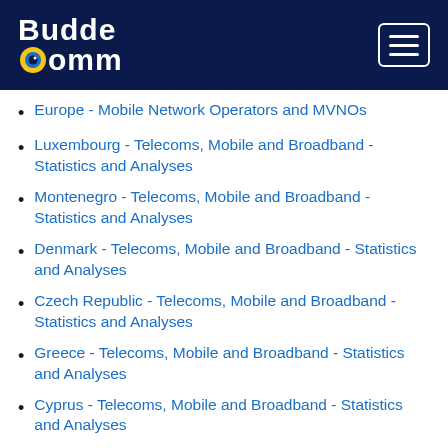BuddeComm
Europe - Mobile Network Operators and MVNOs
Luxembourg - Telecoms, Mobile and Broadband - Statistics and Analyses
Montenegro - Telecoms, Mobile and Broadband - Statistics and Analyses
Denmark - Telecoms, Mobile and Broadband - Statistics and Analyses
Czech Republic - Telecoms, Mobile and Broadband - Statistics and Analyses
Greece - Telecoms, Mobile and Broadband - Statistics and Analyses
Cyprus - Telecoms, Mobile and Broadband - Statistics and Analyses